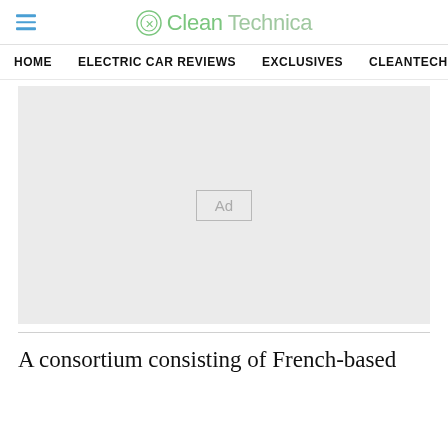CleanTechnica
HOME | ELECTRIC CAR REVIEWS | EXCLUSIVES | CLEANTECHN
[Figure (other): Advertisement placeholder box with 'Ad' label on light gray background]
A consortium consisting of French-based